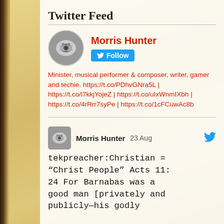Twitter Feed
[Figure (photo): Circular profile avatar showing mechanical/drum equipment]
Morris Hunter
Follow
Minister, musical performer & composer, writer, gamer and techie. https://t.co/PDhvGNra5L | https://t.co/l7kkjYojeZ | https://t.co/uIxWnmIXbh | https://t.co/4rRrr7syPe | https://t.co/1cFCuwAc8b
[Figure (photo): Small square profile avatar showing mechanical/drum equipment]
Morris Hunter   23 Aug
tekpreacher:Christian = “Christ People” Acts 11: 24 For Barnabas was a good man [privately and publicly—his godly character was well attested]